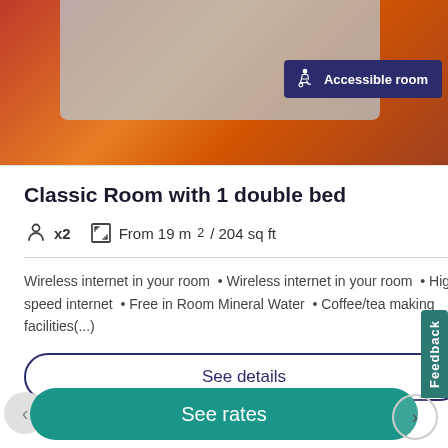[Figure (photo): Hotel room photo showing a bed with orange/red bedding and a light blue bedspread. An 'Accessible room' badge with wheelchair icon is overlaid in the top right corner on a dark navy background.]
Classic Room with 1 double bed
x2   From 19 m² / 204 sq ft
Wireless internet in your room • Wireless internet in your room • High speed internet • Free in Room Mineral Water • Coffee/tea making facilities(...)
See details
See rates